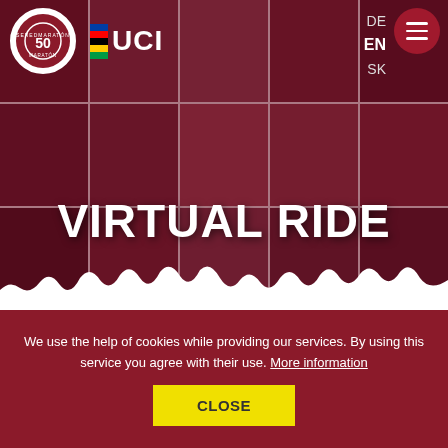[Figure (photo): Hero section with collage of cyclists wearing helmets and cycling gear, overlaid with dark red tint. UCI logo and navigation bar at top. Large 'VIRTUAL RIDE' text centered in the lower portion of the hero image.]
VIRTUAL RIDE
We use the help of cookies while providing our services. By using this service you agree with their use. More information
CLOSE